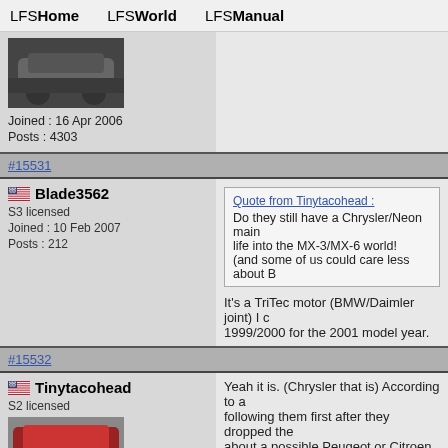LFSHome  LFSWorld  LFSManual
Joined : 16 Apr 2006
Posts : 4303
#15531
Blade3562
S3 licensed
Joined : 10 Feb 2007
Posts : 212
Quote from Tinytacohead : Do they still have a Chrysler/Neon main life into the MX-3/MX-6 world! (and some of us could care less about B
It's a TriTec motor (BMW/Daimler joint) I c 1999/2000 for the 2001 model year.
#15532
Tinytacohead
S2 licensed
Yeah it is. (Chrysler that is) According to a following them first after they dropped the about a possible Peugeot or Citroen powe to see more pics of it @ some point! Look
Last edited by Tinytacohead, Thu 24 Jan 2013